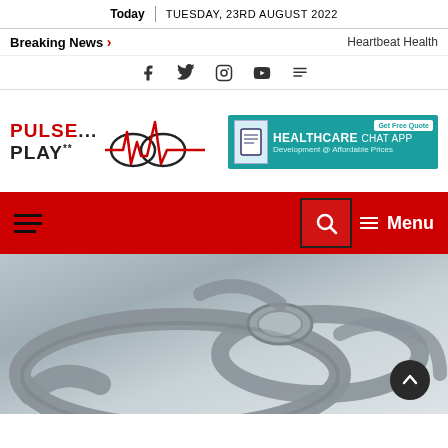Today | TUESDAY, 23RD AUGUST 2022
Breaking News > Heartbeat Health
[Figure (other): Social media icons: Facebook, Twitter, Instagram, YouTube, RSS]
[Figure (logo): Pulse Play logo with heartbeat waveform graphic]
[Figure (infographic): Healthcare Chat App advertisement banner - Development at Affordable Prices, Get Free Quote]
[Figure (other): Red navigation bar with hamburger menu, search icon, and Menu label]
[Figure (photo): Close-up photograph of a stethoscope on a white surface]